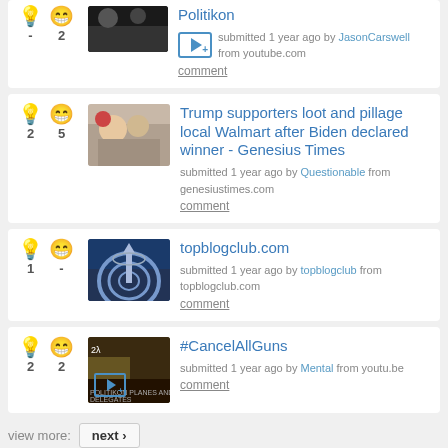Politikon — submitted 1 year ago by JasonCarswell from youtube.com — comment
Trump supporters loot and pillage local Walmart after Biden declared winner - Genesius Times — submitted 1 year ago by Questionable from genesiustimes.com — comment
topblogclub.com — submitted 1 year ago by topblogclub from topblogclub.com — comment
#CancelAllGuns — submitted 1 year ago by Mental from youtu.be — comment
view more: next ›